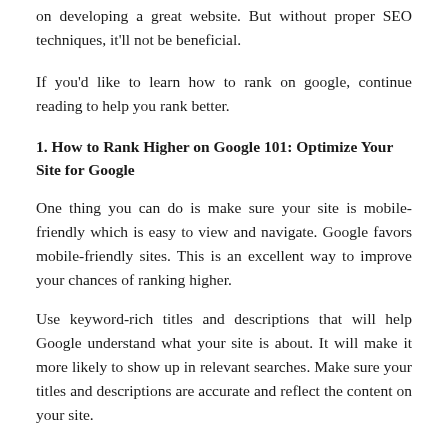on developing a great website. But without proper SEO techniques, it'll not be beneficial.
If you'd like to learn how to rank on google, continue reading to help you rank better.
1. How to Rank Higher on Google 101: Optimize Your Site for Google
One thing you can do is make sure your site is mobile-friendly which is easy to view and navigate. Google favors mobile-friendly sites. This is an excellent way to improve your chances of ranking higher.
Use keyword-rich titles and descriptions that will help Google understand what your site is about. It will make it more likely to show up in relevant searches. Make sure your titles and descriptions are accurate and reflect the content on your site.
You can try to get other high-quality websites to link to your site. This is called backlinking, and can help improve your site's